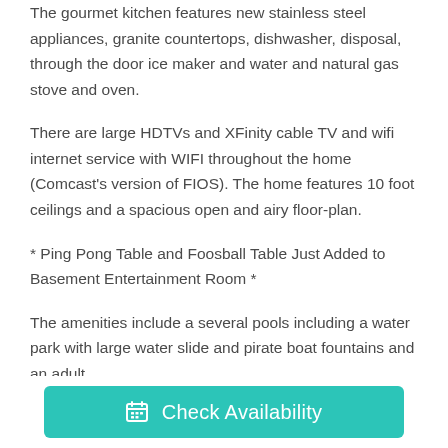The gourmet kitchen features new stainless steel appliances, granite countertops, dishwasher, disposal, through the door ice maker and water and natural gas stove and oven.
There are large HDTVs and XFinity cable TV and wifi internet service with WIFI throughout the home (Comcast's version of FIOS). The home features 10 foot ceilings and a spacious open and airy floor-plan.
* Ping Pong Table and Foosball Table Just Added to Basement Entertainment Room *
The amenities include a several pools including a water park with large water slide and pirate boat fountains and an adult